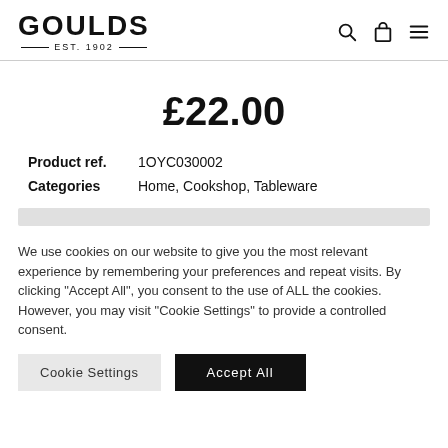GOULDS EST. 1902
£22.00
| Product ref. | 1OYC030002 |
| Categories | Home, Cookshop, Tableware |
We use cookies on our website to give you the most relevant experience by remembering your preferences and repeat visits. By clicking "Accept All", you consent to the use of ALL the cookies. However, you may visit "Cookie Settings" to provide a controlled consent.